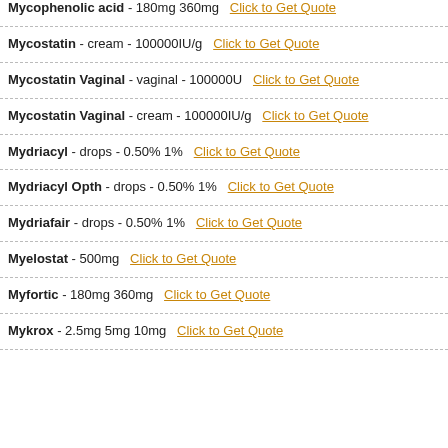Mycophenolic acid - 180mg 360mg  Click to Get Quote
Mycostatin - cream - 100000IU/g  Click to Get Quote
Mycostatin Vaginal - vaginal - 100000U  Click to Get Quote
Mycostatin Vaginal - cream - 100000IU/g  Click to Get Quote
Mydriacyl - drops - 0.50% 1%  Click to Get Quote
Mydriacyl Opth - drops - 0.50% 1%  Click to Get Quote
Mydriafair - drops - 0.50% 1%  Click to Get Quote
Myelostat - 500mg  Click to Get Quote
Myfortic - 180mg 360mg  Click to Get Quote
Mykrox - 2.5mg 5mg 10mg  Click to Get Quote